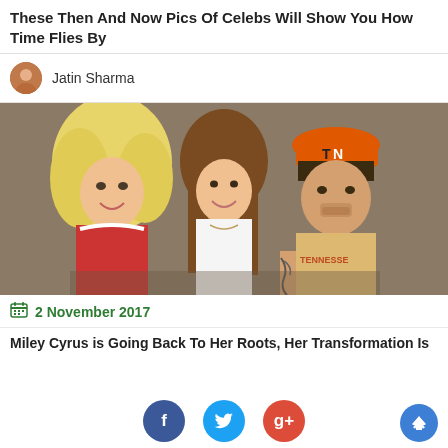These Then And Now Pics Of Celebs Will Show You How Time Flies By
Jatin Sharma
[Figure (photo): Three people posing together: a woman with big blonde hair wearing a red and white top, a young woman with long brown hair in a white top, and a man wearing an orange TN cap and a beige Tennessee t-shirt.]
2 November 2017
Miley Cyrus is Going Back To Her Roots, Her Transformation Is